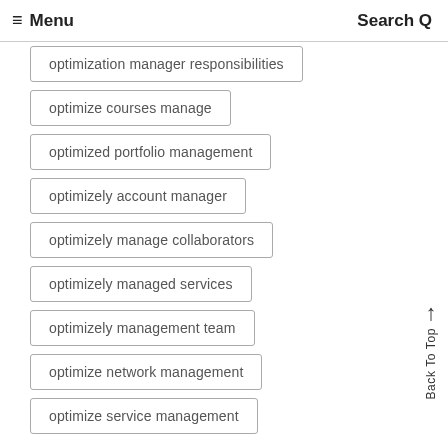≡ Menu   Search Q
optimization manager responsibilities
optimize courses manage
optimized portfolio management
optimizely account manager
optimizely manage collaborators
optimizely managed services
optimizely management team
optimize network management
optimize service management
optimizing definition management